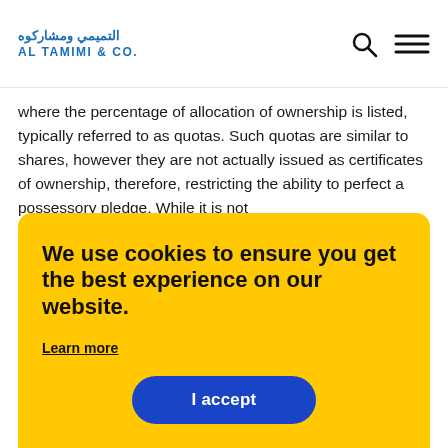AL TAMIMI & CO.
where the percentage of allocation of ownership is listed, typically referred to as quotas. Such quotas are similar to shares, however they are not actually issued as certificates of ownership, therefore, restricting the ability to perfect a possessory pledge. While it is not
We use cookies to ensure you get the best experience on our website.
Learn more
I accept